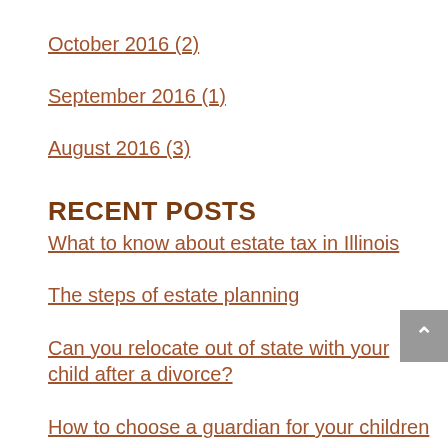October 2016 (2)
September 2016 (1)
August 2016 (3)
RECENT POSTS
What to know about estate tax in Illinois
The steps of estate planning
Can you relocate out of state with your child after a divorce?
How to choose a guardian for your children
What are the most important traits you need in